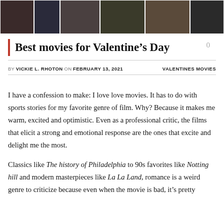[Figure (photo): A collage strip of movie scene photographs arranged horizontally across the top of the page]
Best movies for Valentine’s Day
BY VICKIE L. RHOTON ON FEBRUARY 13, 2021   VALENTINES MOVIES
I have a confession to make: I love love movies. It has to do with sports stories for my favorite genre of film. Why? Because it makes me warm, excited and optimistic. Even as a professional critic, the films that elicit a strong and emotional response are the ones that excite and delight me the most.
Classics like The history of Philadelphia to 90s favorites like Notting hill and modern masterpieces like La La Land, romance is a weird genre to criticize because even when the movie is bad, it’s pretty